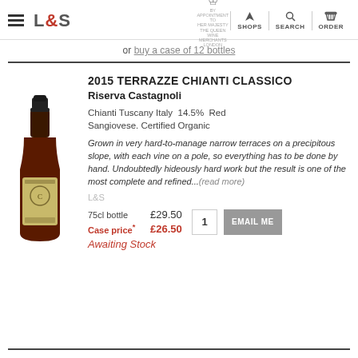L&S | SHOPS | SEARCH | ORDER
or buy a case of 12 bottles
2015 TERRAZZE CHIANTI CLASSICO Riserva Castagnoli
Chianti Tuscany Italy  14.5%  Red Sangiovese. Certified Organic
[Figure (photo): A bottle of 2015 Terrazze Chianti Classico Riserva Castagnoli red wine]
Grown in very hard-to-manage narrow terraces on a precipitous slope, with each vine on a pole, so everything has to be done by hand. Undoubtedly hideously hard work but the result is one of the most complete and refined...(read more)
L&S
75cl bottle £29.50
Case price* £26.50
Awaiting Stock